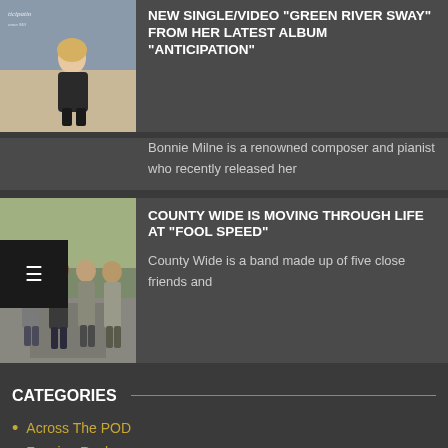[Figure (photo): Album cover for 'Anticipation' by Bonnie Milne showing a woman sitting by water]
NEW SINGLE/VIDEO "GREEN RIVER SWAY" FROM HER LATEST ALBUM "ANTICIPATION"
Bonnie Milne is a renowned composer and pianist who recently released her
[Figure (photo): Photo of the band County Wide — four men standing on a road outdoors]
COUNTY WIDE IS MOVING THROUGH LIFE AT "FOOL SPEED"
County Wide is a band made up of five close friends and
CATEGORIES
Across The POD
Fanzine Rack